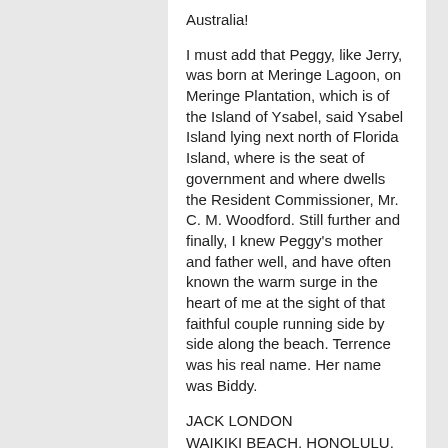Australia!
I must add that Peggy, like Jerry, was born at Meringe Lagoon, on Meringe Plantation, which is of the Island of Ysabel, said Ysabel Island lying next north of Florida Island, where is the seat of government and where dwells the Resident Commissioner, Mr. C. M. Woodford. Still further and finally, I knew Peggy’s mother and father well, and have often known the warm surge in the heart of me at the sight of that faithful couple running side by side along the beach. Terrence was his real name. Her name was Biddy.
JACK LONDON
WAIKIKI BEACH, HONOLULU,
OAHU, T.H.
June 5, 1915